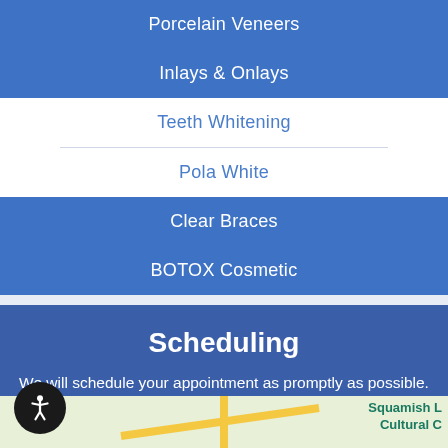Porcelain Veneers
Inlays & Onlays
Teeth Whitening
Pola White
Clear Braces
BOTOX Cosmetic
Scheduling
We will schedule your appointment as promptly as possible. If you have pain or an emergency situation, every attempt will be made to see you that day.
Contact Us
Our office is located at:
4369 Main St. Unit 106
Whistler, BC V8E 1B7
[Figure (map): Partial map view showing street intersections near the dental office location, with a label reading 'Squamish L Cultural C']